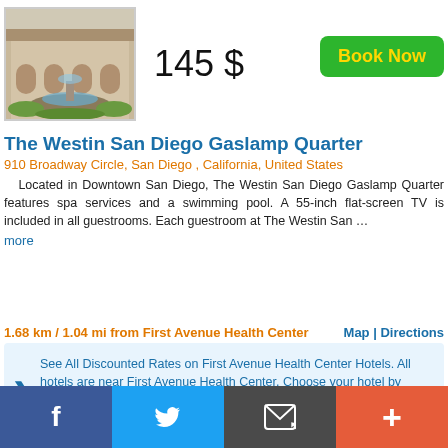[Figure (photo): Hotel exterior photo showing fountain and building]
145 $
Book Now
The Westin San Diego Gaslamp Quarter
910 Broadway Circle, San Diego , California, United States
Located in Downtown San Diego, The Westin San Diego Gaslamp Quarter features spa services and a swimming pool. A 55-inch flat-screen TV is included in all guestrooms. Each guestroom at The Westin San … more
1.68 km / 1.04 mi from First Avenue Health Center
Map | Directions
See All Discounted Rates on First Avenue Health Center Hotels. All hotels are near First Avenue Health Center. Choose your hotel by price, reviews and more!
Welcome to HotelsNearby.us where you will find the best prices for hotels near First Avenue Health